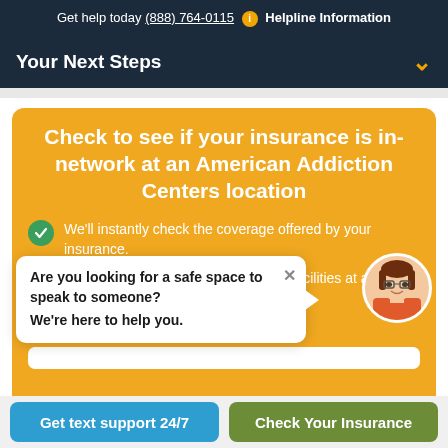Get help today (888) 764-0115  i  Helpline Information
Your Next Steps
Check to see if your insurance is in-network at an American Addiction Centers location
We'll instantly check the coverage offered by your insurance.
You may qualify to attend one of our facilities at a reduced rate.
Are you looking for a safe space to speak to someone? We're here to help you.
What to expect? ?
Get text support 24/7
Check Your Insurance